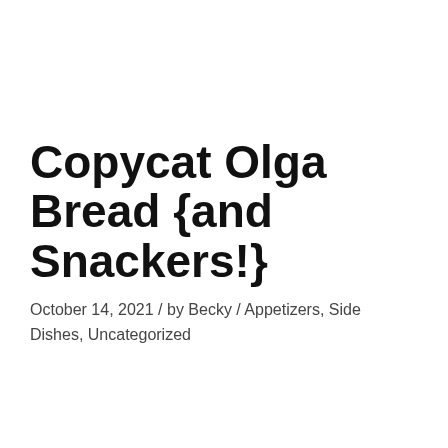Copycat Olga Bread {and Snackers!}
October 14, 2021 / by Becky / Appetizers, Side Dishes, Uncategorized